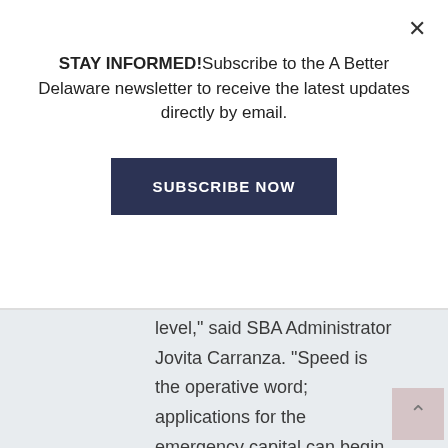STAY INFORMED!Subscribe to the A Better Delaware newsletter to receive the latest updates directly by email.
SUBSCRIBE NOW
level,” said SBA Administrator Jovita Carranza. “Speed is the operative word; applications for the emergency capital can begin as early as this week, with lenders using their own systems and processes to make these loans. We remain committed to supporting our nation’s more than 30 million small businesses and their employees so that they can continue to be the fuel